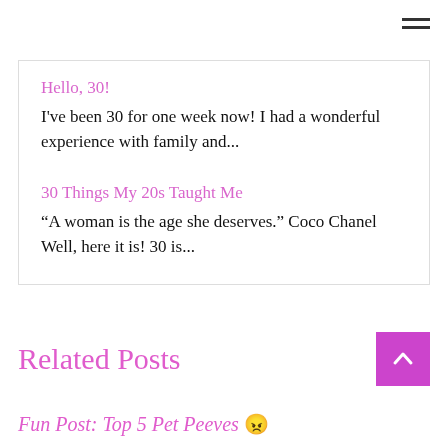[Figure (other): Hamburger menu icon (three horizontal lines) in top right corner]
Hello, 30!
I've been 30 for one week now!  I had a wonderful experience with family and...
30 Things My 20s Taught Me
“A woman is the age she deserves.” Coco Chanel Well, here it is! 30 is...
Related Posts
[Figure (other): Back to top button - purple/magenta square with upward chevron arrow]
Fun Post: Top 5 Pet Peeves 😠